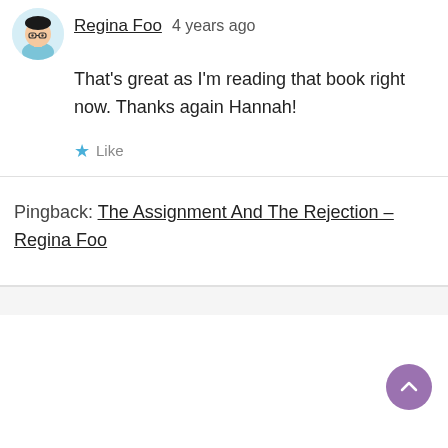[Figure (illustration): Avatar of Regina Foo, a cartoon-style illustration of a person with short black hair and glasses wearing a light blue outfit]
Regina Foo   4 years ago
That's great as I'm reading that book right now. Thanks again Hannah!
★ Like
Pingback: The Assignment And The Rejection – Regina Foo